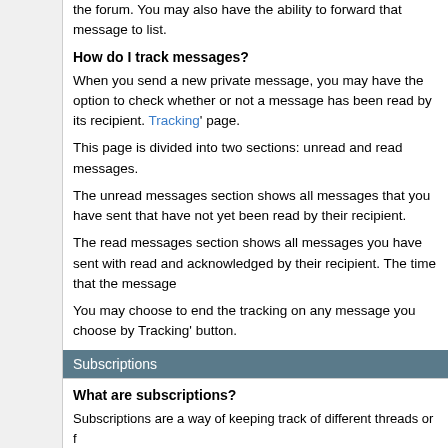the forum. You may also have the ability to forward that message to list.
How do I track messages?
When you send a new private message, you may have the option to check whether or not a message has been read by its recipient. Tracking' page.
This page is divided into two sections: unread and read messages.
The unread messages section shows all messages that you have sent that have not yet been read by their recipient.
The read messages section shows all messages you have sent with read and acknowledged by their recipient. The time that the message
You may choose to end the tracking on any message you choose by Tracking' button.
When you receive a message with a read-receipt request, you may message while denying the read-receipt request. To do this, simply than the title of the message, if it appears.
Subscriptions
What are subscriptions?
Subscriptions are a way of keeping track of different threads or f